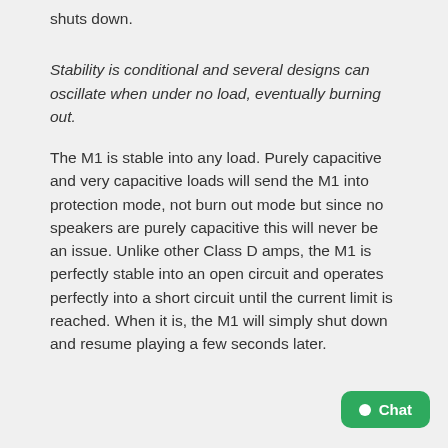shuts down.
Stability is conditional and several designs can oscillate when under no load, eventually burning out.
The M1 is stable into any load. Purely capacitive and very capacitive loads will send the M1 into protection mode, not burn out mode but since no speakers are purely capacitive this will never be an issue. Unlike other Class D amps, the M1 is perfectly stable into an open circuit and operates perfectly into a short circuit until the current limit is reached. When it is, the M1 will simply shut down and resume playing a few seconds later.